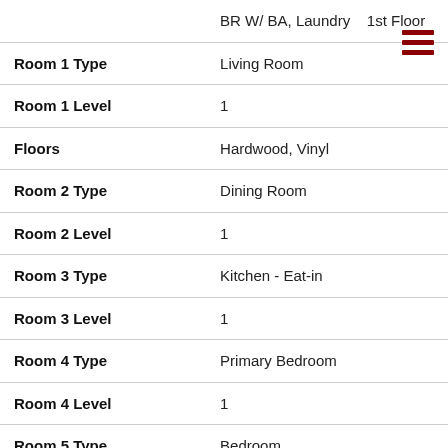| Field | Value |
| --- | --- |
| BR W/ BA, Laundry | 1st Floor |
| Room 1 Type | Living Room |
| Room 1 Level | 1 |
| Floors | Hardwood, Vinyl |
| Room 2 Type | Dining Room |
| Room 2 Level | 1 |
| Room 3 Type | Kitchen - Eat-in |
| Room 3 Level | 1 |
| Room 4 Type | Primary Bedroom |
| Room 4 Level | 1 |
| Room 5 Type | Bedroom |
| Room 5 Level | 1 |
| Stories | 1 |